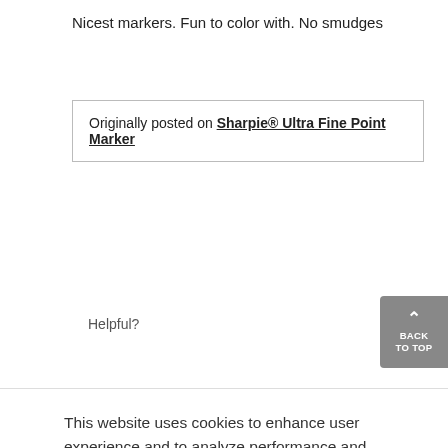Nicest markers. Fun to color with. No smudges
Originally posted on Sharpie® Ultra Fine Point Marker
Helpful?
This website uses cookies to enhance user experience and to analyze performance and traffic on our website. We also share information about your use of our site with our social media, advertising and analytics partners. To learn more about cookies, including how to disable them, click on Cookie Preferences.
Cookie Preferences
Got It
none come close to sharpie quality. With the fine tips I was able to do the work I needed to be done. I